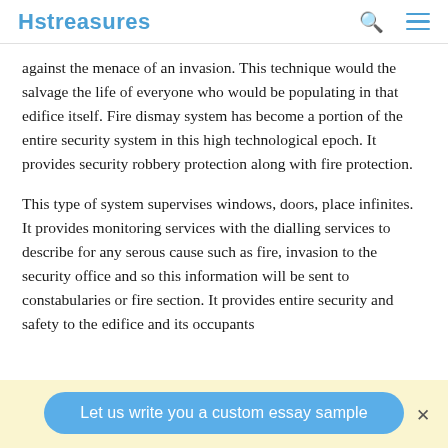Hstreasures
against the menace of an invasion. This technique would the salvage the life of everyone who would be populating in that edifice itself. Fire dismay system has become a portion of the entire security system in this high technological epoch. It provides security robbery protection along with fire protection.
This type of system supervises windows, doors, place infinites. It provides monitoring services with the dialling services to describe for any serous cause such as fire, invasion to the security office and so this information will be sent to constabularies or fire section. It provides entire security and safety to the edifice and its occupants
Let us write you a custom essay sample